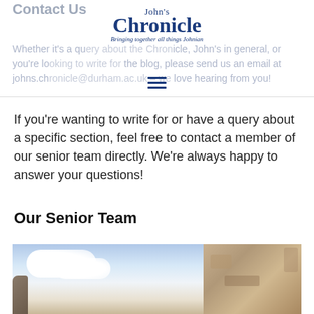Contact Us
[Figure (logo): John's Chronicle logo — 'John's' in small text above large bold 'Chronicle', italic tagline 'Bringing together all things Johnian']
Whether it's a query about the Chronicle, John's in general, or you're looking to write for the blog, please send us an email at johns.chronicle@durham.ac.uk – we love hearing from you!
If you're wanting to write for or have a query about a specific section, feel free to contact a member of our senior team directly. We're always happy to answer your questions!
Our Senior Team
[Figure (photo): Two side-by-side photos: left showing sky with white clouds viewed from rocky cliffs; right showing sandy/limestone rock texture]